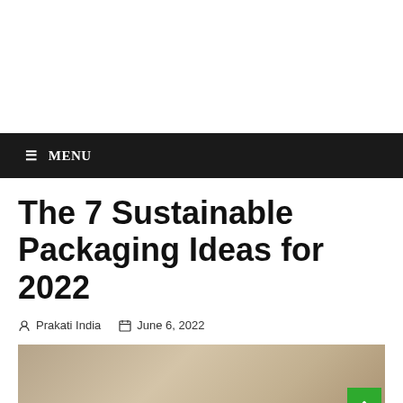≡ MENU
The 7 Sustainable Packaging Ideas for 2022
Prakati India   June 6, 2022
[Figure (photo): Photo of sustainable packaging — brown paper/cardboard wrapping material]